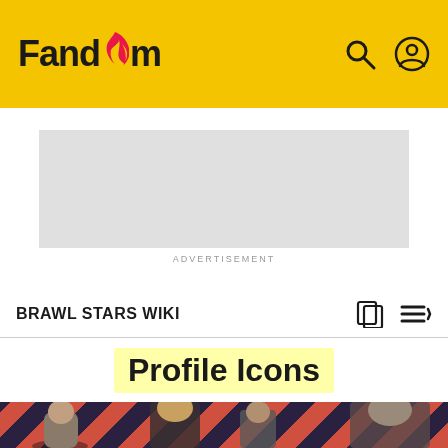Fandom
[Figure (screenshot): Advertisement placeholder box with grey background]
ADVERTISEMENT
BRAWL STARS WIKI
Profile Icons
[Figure (photo): Brawl Stars characters on a red and dark diagonal stripe background - showing multiple game characters including a blonde woman and others]